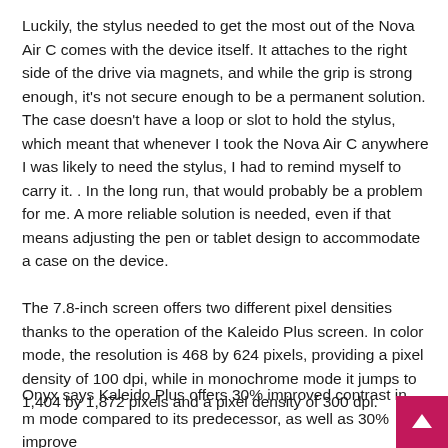Luckily, the stylus needed to get the most out of the Nova Air C comes with the device itself. It attaches to the right side of the drive via magnets, and while the grip is strong enough, it's not secure enough to be a permanent solution. The case doesn't have a loop or slot to hold the stylus, which meant that whenever I took the Nova Air C anywhere I was likely to need the stylus, I had to remind myself to carry it. . In the long run, that would probably be a problem for me. A more reliable solution is needed, even if that means adjusting the pen or tablet design to accommodate a case on the device.
The 7.8-inch screen offers two different pixel densities thanks to the operation of the Kaleido Plus screen. In color mode, the resolution is 468 by 624 pixels, providing a pixel density of 100 dpi, while in monochrome mode it jumps to 1,404 by 1,872 pixels and a pixel density of 300 dpi.
Onyx says Kaleido Plus offers 30% improved contrast in m mode compared to its predecessor, as well as 30% improve